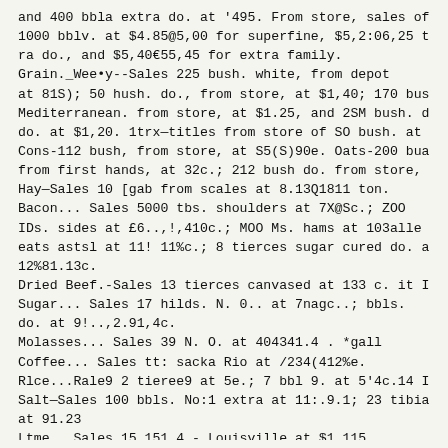and 400 bbla extra do. at '495. From store, sales of 1000 bblv. at $4.85@5,00 for superfine, $5,2:06,25 t tra do., and $5,40€55,45 for extra family.
Grain._Wee•y--Sales 225 bush. white, from depot at 81S); 50 hush. do., from store, at $1,40; 170 bus Mediterranean. from store, at $1.25, and 2SM bush. d do. at $1,20. 1trx—titles from store of SO bush. at Cons-112 bush, from store, at S5(S)90e. Oats-200 bua from first hands, at 32c.; 212 bush do. from store,
Hay—Sales 10 [gab from scales at 8.13Q1811 ton.
Bacon... Sales 5000 tbs. shoulders at 7X@Sc.; ZOO IDs. sides at £6..,!,410c.; MOO Ms. hams at 103alle eats astsl at 11! 11%c.; 8 tierces sugar cured do. a 12%81.13c.
Dried Beef.-Sales 13 tierces canvased at 133 c. it I
Sugar... Sales 17 hilds. N. 0.. at 7nagc..; bbls. do. at 9!..,2.91,4c.
Molasses... Sales 39 N. O. at 404341.4 . *gall
Coffee... Sales tt: sacka Rio at /234(412%e.
Rlce...Rale9 2 tieree9 at 5e.; 7 bbl 9. at 5'4c.14 I
Salt—Sales 100 bbls. No:1 extra at 11:.9.1; 23 tibia at 91.23
Ltme...Sales 15 151.4 - Louisville at $1,115
Apples-. Sales 11 bbl,.. at 12,40.